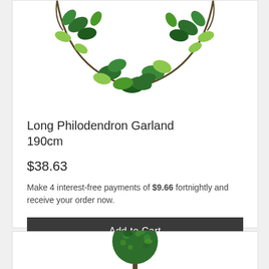[Figure (photo): Artificial green philodendron garland vine with leaves, shown hanging in a U-shape against white background, cropped at top]
Long Philodendron Garland 190cm
$38.63
Make 4 interest-free payments of $9.66 fortnightly and receive your order now.
Add to Cart
[Figure (photo): Artificial green topiary ball tree on a thin stem, shown against white background, cropped at bottom]